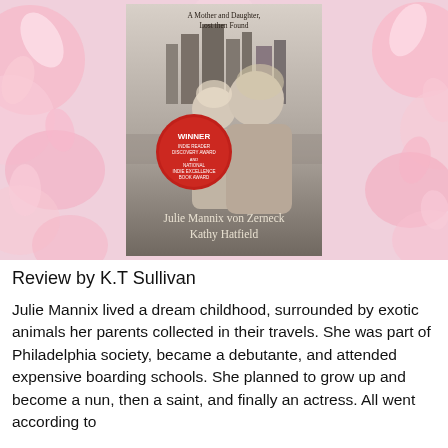[Figure (photo): Book cover of 'A Mother and Daughter, Lost then Found' by Julie Mannix von Zerneck and Kathy Hatfield, showing two women in profile against a city skyline in black and white, with a red 'WINNER' badge indicating prize wins, displayed against a pink floral background.]
Review by K.T Sullivan
Julie Mannix lived a dream childhood, surrounded by exotic animals her parents collected in their travels. She was part of Philadelphia society, became a debutante, and attended expensive boarding schools. She planned to grow up and become a nun, then a saint, and finally an actress. All went according to